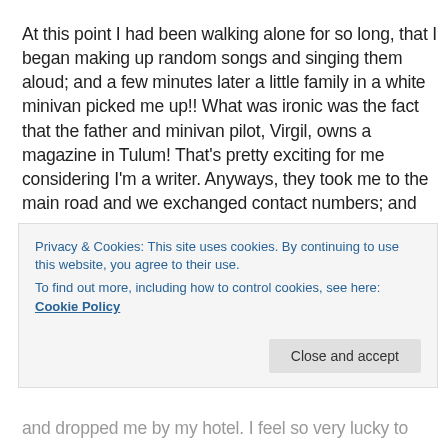At this point I had been walking alone for so long, that I began making up random songs and singing them aloud; and a few minutes later a little family in a white minivan picked me up!! What was ironic was the fact that the father and minivan pilot, Virgil, owns a magazine in Tulum! That's pretty exciting for me considering I'm a writer. Anyways, they took me to the main road and we exchanged contact numbers; and
Privacy & Cookies: This site uses cookies. By continuing to use this website, you agree to their use.
To find out more, including how to control cookies, see here: Cookie Policy
and dropped me by my hotel. I feel so very lucky to